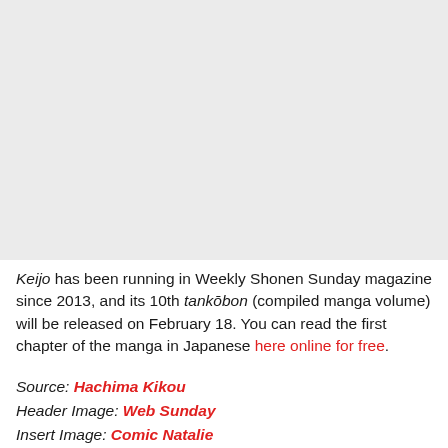[Figure (photo): Large gray placeholder image area occupying the top portion of the page]
Keijo has been running in Weekly Shonen Sunday magazine since 2013, and its 10th tankōbon (compiled manga volume) will be released on February 18. You can read the first chapter of the manga in Japanese here online for free.
Source: Hachima Kikou
Header Image: Web Sunday
Insert Image: Comic Natalie